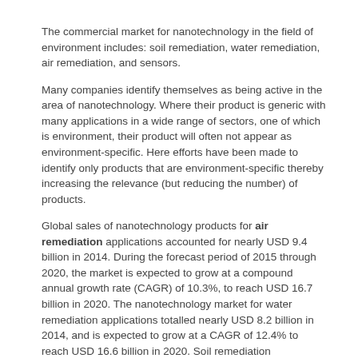The commercial market for nanotechnology in the field of environment includes: soil remediation, water remediation, air remediation, and sensors.
Many companies identify themselves as being active in the area of nanotechnology. Where their product is generic with many applications in a wide range of sectors, one of which is environment, their product will often not appear as environment-specific. Here efforts have been made to identify only products that are environment-specific thereby increasing the relevance (but reducing the number) of products.
Global sales of nanotechnology products for air remediation applications accounted for nearly USD 9.4 billion in 2014. During the forecast period of 2015 through 2020, the market is expected to grow at a compound annual growth rate (CAGR) of 10.3%, to reach USD 16.7 billion in 2020. The nanotechnology market for water remediation applications totalled nearly USD 8.2 billion in 2014, and is expected to grow at a CAGR of 12.4% to reach USD 16.6 billion in 2020. Soil remediation applications accounted for nearly USD 5.9 billion in 2014 with forecast growth of CAGR 6.4% to reach USD 8.4 billion in 2020 (BCC Research (2015), Nanotechnology in Environmental Applications).